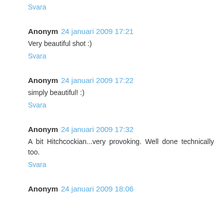Svara
Anonym  24 januari 2009 17:21
Very beautiful shot :)
Svara
Anonym  24 januari 2009 17:22
simply beautiful! :)
Svara
Anonym  24 januari 2009 17:32
A bit Hitchcockian...very provoking. Well done technically too.
Svara
Anonym  24 januari 2009 18:06